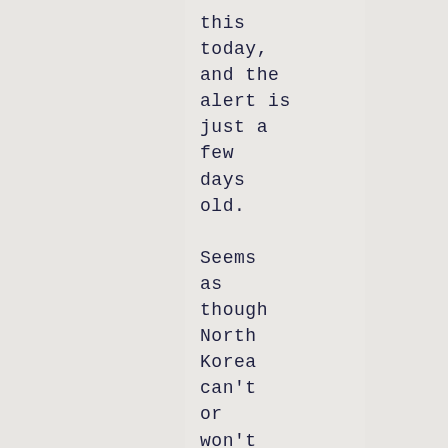this today, and the alert is just a few days old.

Seems as though North Korea can't or won't keep their nose clean and this ... just